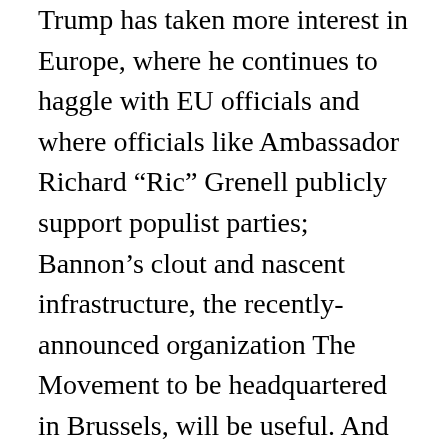Trump has taken more interest in Europe, where he continues to haggle with EU officials and where officials like Ambassador Richard “Ric” Grenell publicly support populist parties; Bannon’s clout and nascent infrastructure, the recently-announced organization The Movement to be headquartered in Brussels, will be useful. And the White House has expressed no opposition to Bannon’s work as unofficial surrogate for the president, a role he has been staking out for many months.
If Kelly, Mattis or Bolton were to go, a host of candidates could vy to replace them, with foreign policy implications galore. When the president has sacked top officials before, generally a clear